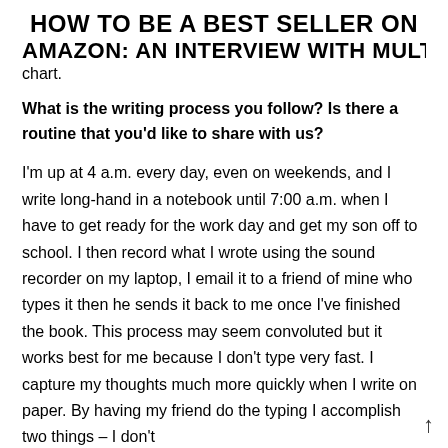HOW TO BE A BEST SELLER ON AMAZON: AN INTERVIEW WITH MULTI
chart.
What is the writing process you follow? Is there a routine that you'd like to share with us?
I'm up at 4 a.m. every day, even on weekends, and I write long-hand in a notebook until 7:00 a.m. when I have to get ready for the work day and get my son off to school. I then record what I wrote using the sound recorder on my laptop, I email it to a friend of mine who types it then he sends it back to me once I've finished the book. This process may seem convoluted but it works best for me because I don't type very fast. I capture my thoughts much more quickly when I write on paper. By having my friend do the typing I accomplish two things – I don't